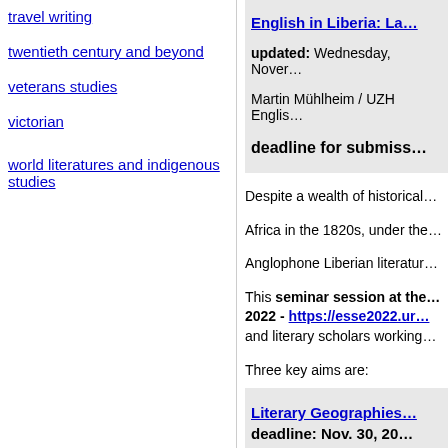travel writing
twentieth century and beyond
veterans studies
victorian
world literatures and indigenous studies
English in Liberia: La…
updated: Wednesday, Nover…
Martin Mühlheim / UZH Englis…
deadline for submiss…
Despite a wealth of historical…
Africa in the 1820s, under the…
Anglophone Liberian literatur…
This seminar session at the… 2022 - https://esse2022.ur… and literary scholars working…
Three key aims are:
Literary Geographies…
deadline: Nov. 30, 20…